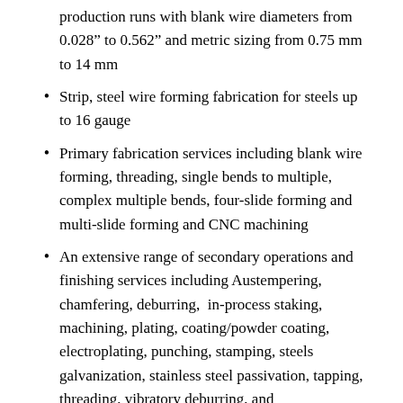production runs with blank wire diameters from 0.028” to 0.562” and metric sizing from 0.75 mm to 14 mm
Strip, steel wire forming fabrication for steels up to 16 gauge
Primary fabrication services including blank wire forming, threading, single bends to multiple, complex multiple bends, four-slide forming and multi-slide forming and CNC machining
An extensive range of secondary operations and finishing services including Austempering, chamfering, deburring, in-process staking, machining, plating, coating/powder coating, electroplating, punching, stamping, steels galvanization, stainless steel passivation, tapping, threading, vibratory deburring, and welding/welding assembly services
Product packaging, warehousing, “just-in-time” inventory stocking, Kan Ban stocking and global